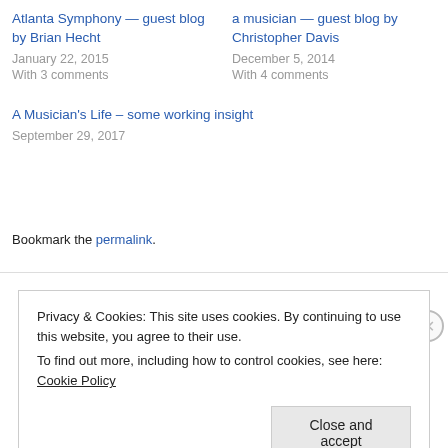Atlanta Symphony — guest blog by Brian Hecht
January 22, 2015
With 3 comments
a musician — guest blog by Christopher Davis
December 5, 2014
With 4 comments
A Musician's Life – some working insight
September 29, 2017
Bookmark the permalink.
Privacy & Cookies: This site uses cookies. By continuing to use this website, you agree to their use.
To find out more, including how to control cookies, see here: Cookie Policy
Close and accept